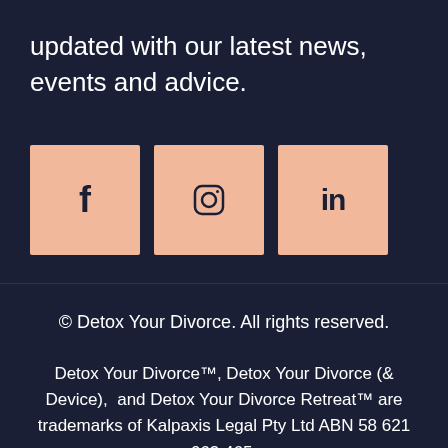updated with our latest news, events and advice.
[Figure (illustration): Three social media icon buttons (Facebook, Instagram, LinkedIn) with salmon/peach colored square backgrounds on a dark navy background.]
© Detox Your Divorce. All rights reserved.
Detox Your Divorce™, Detox Your Divorce (& Device),  and Detox Your Divorce Retreat™ are trademarks of Kalpaxis Legal Pty Ltd ABN 58 621 063 465.